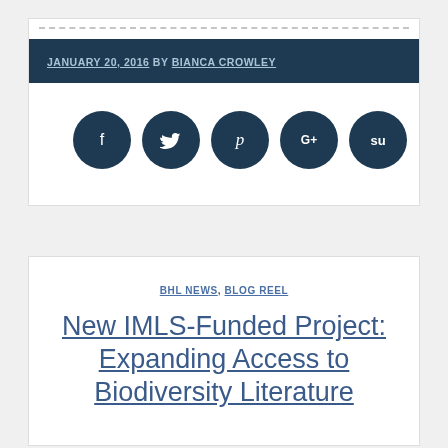JANUARY 20, 2016 BY BIANCA CROWLEY
[Figure (infographic): Five social media sharing icon circles (Facebook, Twitter, Pinterest, Google+, StumbleUpon) in dark navy color]
BHL NEWS, BLOG REEL
New IMLS-Funded Project: Expanding Access to Biodiversity Literature